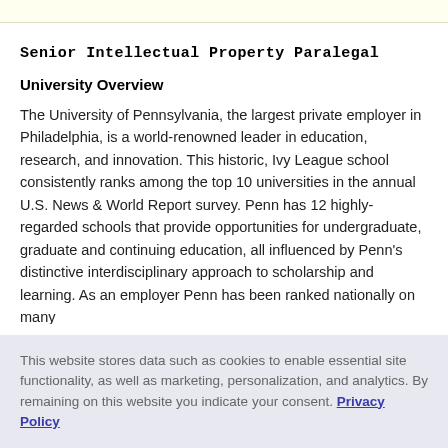Senior Intellectual Property Paralegal
University Overview
The University of Pennsylvania, the largest private employer in Philadelphia, is a world-renowned leader in education, research, and innovation. This historic, Ivy League school consistently ranks among the top 10 universities in the annual U.S. News & World Report survey. Penn has 12 highly-regarded schools that provide opportunities for undergraduate, graduate and continuing education, all influenced by Penn's distinctive interdisciplinary approach to scholarship and learning. As an employer Penn has been ranked nationally on many
This website stores data such as cookies to enable essential site functionality, as well as marketing, personalization, and analytics. By remaining on this website you indicate your consent. Privacy Policy